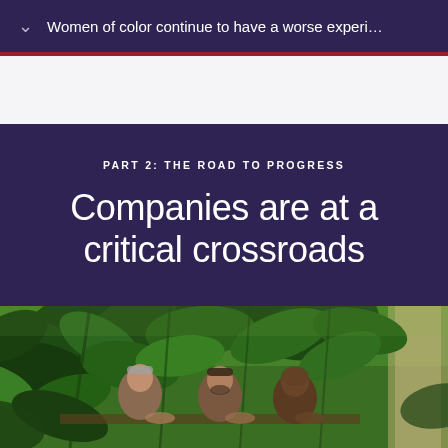Women of color continue to have a worse experi…
PART 2: THE ROAD TO PROGRESS
Companies are at a critical crossroads
[Figure (photo): Three men seated around a table in a plant-filled room with large leafy plants in the background and a window on the right side.]